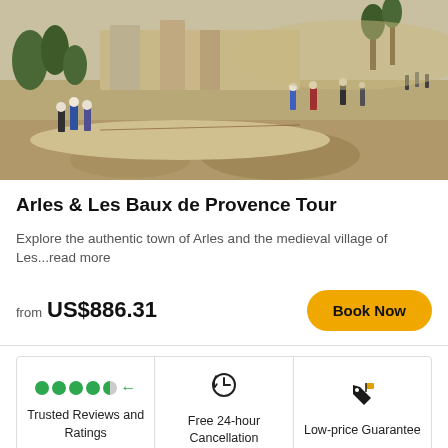[Figure (photo): Outdoor photo of tourists walking through Les Baux de Provence ruins, rocky landscape with Mediterranean vegetation]
Arles & Les Baux de Provence Tour
Explore the authentic town of Arles and the medieval village of Les...read more
from US$886.31
Book Now
Trusted Reviews and Ratings
Free 24-hour Cancellation
Low-price Guarantee
Explore Les Baux de Provence
See all >
from US$50.92